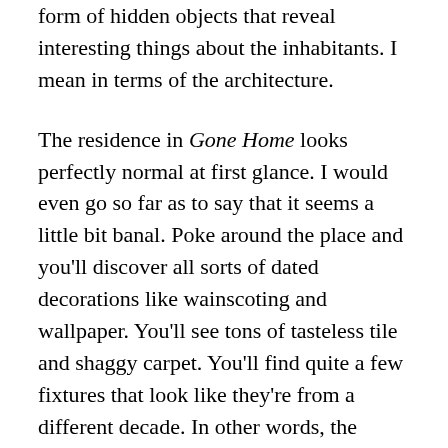form of hidden objects that reveal interesting things about the inhabitants. I mean in terms of the architecture.
The residence in Gone Home looks perfectly normal at first glance. I would even go so far as to say that it seems a little bit banal. Poke around the place and you'll discover all sorts of dated decorations like wainscoting and wallpaper. You'll see tons of tasteless tile and shaggy carpet. You'll find quite a few fixtures that look like they're from a different decade. In other words, the residence in Gone Home is no different from the hundreds of houses that you've probably been in before. Right? Well, not so much. Take in the details and I'm sure that you'll come to this conclusion. The residence in Gone Home is, in some ways, a haunted